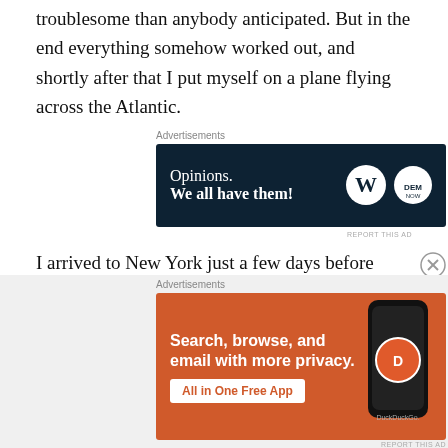troublesome than anybody anticipated. But in the end everything somehow worked out, and shortly after that I put myself on a plane flying across the Atlantic.
[Figure (screenshot): WordPress and DemNow advertisement: 'Opinions. We all have them!' on dark navy background with WordPress and DemNow logos]
I arrived to New York just a few days before school started on August 9. I was hoping to arrive a couple of weeks earlier to settle down and get used to the city before we start but that hope unfortunately evaporated due to the mentioned above problem and visa delays. I have
[Figure (screenshot): DuckDuckGo advertisement: 'Search, browse, and email with more privacy. All in One Free App' on orange background with DuckDuckGo logo and phone image]